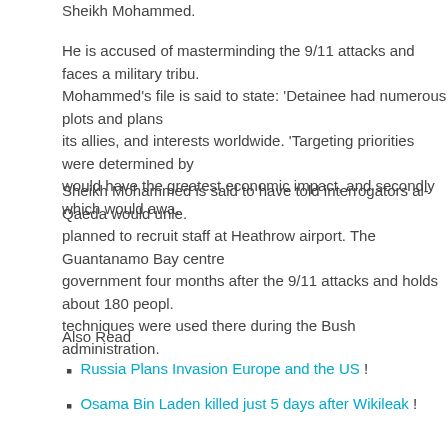Sheikh Mohammed.
He is accused of masterminding the 9/11 attacks and faces a military tribu... Mohammed's file is said to state: 'Detainee had numerous plots and plans its allies, and interests worldwide. 'Targeting priorities were determined by would have the greatest economic impact, and secondly which would awa...
Sheikh Mohammed is said to have told interrogators al-Qaeda would unle... planned to recruit staff at Heathrow airport. The Guantanamo Bay centre government four months after the 9/11 attacks and holds about 180 peopl... techniques were used there during the Bush administration.
Also Read
Russia Plans Invasion Europe and the US !
Osama Bin Laden killed just 5 days after Wikileak !
WIKILEAK REVEALS NUCLEAR THR... EUROPE !
Source
Metro